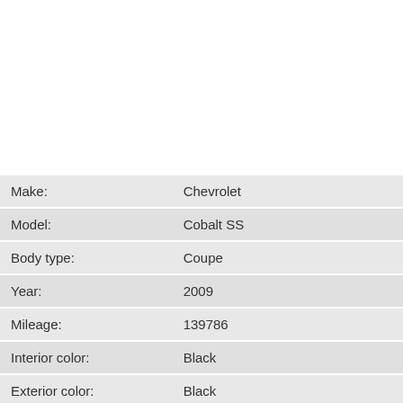| Field | Value |
| --- | --- |
| Make: | Chevrolet |
| Model: | Cobalt SS |
| Body type: | Coupe |
| Year: | 2009 |
| Mileage: | 139786 |
| Interior color: | Black |
| Exterior color: | Black |
| Transmission: | manual |
| Engine: | I4, 2.0l; DOHC; Turbo |